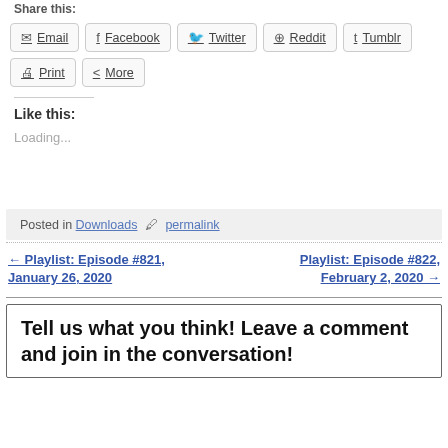Share this:
Email | Facebook | Twitter | Reddit | Tumblr
Print | More
Like this:
Loading...
Posted in Downloads  🖊 permalink
← Playlist: Episode #821, January 26, 2020     Playlist: Episode #822, February 2, 2020 →
Tell us what you think! Leave a comment and join in the conversation!